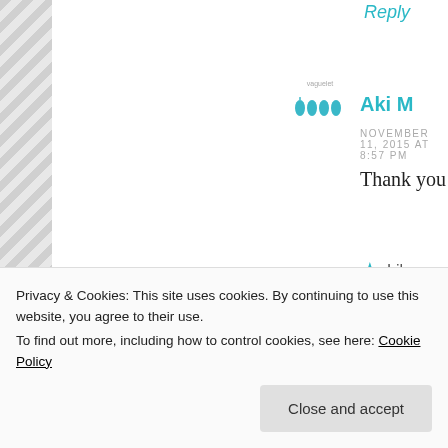Reply
Aki M
NOVEMBER 11, 2015 AT 8:57 PM
Thank you Elisabeth! You’re always s
★ Like
Reply
ACLD
Privacy & Cookies: This site uses cookies. By continuing to use this website, you agree to their use. To find out more, including how to control cookies, see here: Cookie Policy
Close and accept